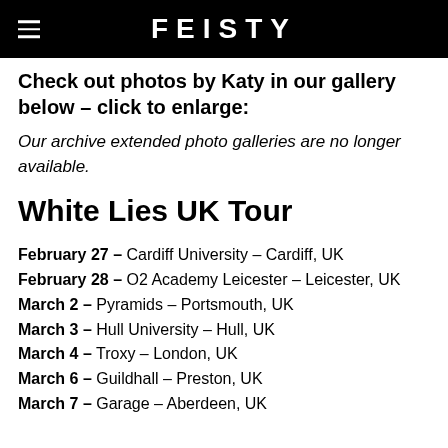FEISTY
Check out photos by Katy in our gallery below – click to enlarge:
Our archive extended photo galleries are no longer available.
White Lies UK Tour
February 27 – Cardiff University – Cardiff, UK
February 28 – O2 Academy Leicester – Leicester, UK
March 2 – Pyramids – Portsmouth, UK
March 3 – Hull University – Hull, UK
March 4 – Troxy – London, UK
March 6 – Guildhall – Preston, UK
March 7 – Garage – Aberdeen, UK